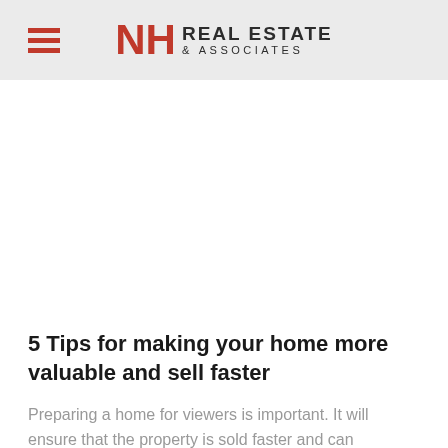NH REAL ESTATE & ASSOCIATES
[Figure (other): White image/advertisement area placeholder]
5 Tips for making your home more valuable and sell faster
Preparing a home for viewers is important. It will ensure that the property is sold faster and can potentially